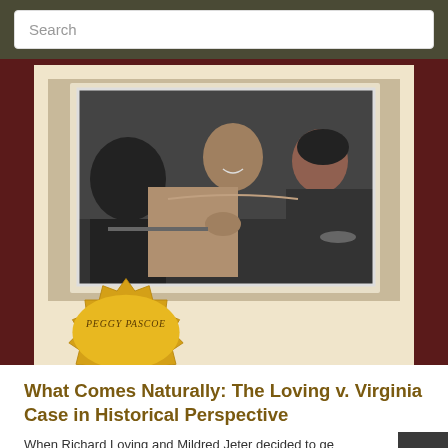Search
[Figure (photo): Black and white photograph of Richard Loving and Mildred Jeter seated at a table, with a third person in the foreground. A gold seal badge with the author name Peggy Pascoe overlaid on the bottom left of the book cover image.]
What Comes Naturally: The Loving v. Virginia Case in Historical Perspective
When Richard Loving and Mildred Jeter decided to get married in June 1958, laws banning interracial marriage